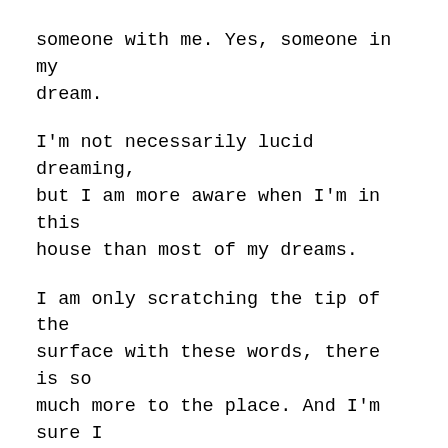someone with me. Yes, someone in my dream.
I'm not necessarily lucid dreaming, but I am more aware when I'm in this house than most of my dreams.
I am only scratching the tip of the surface with these words, there is so much more to the place. And I'm sure I haven't even dreamt of it all as of yet. But just writing this down brings me back to it. I'm seeing it as I type, the rooms, the feeling of walking through the structure. Feelings I felt growing up in the portions of the house that represent the rooms and apartments I'd grown up within.